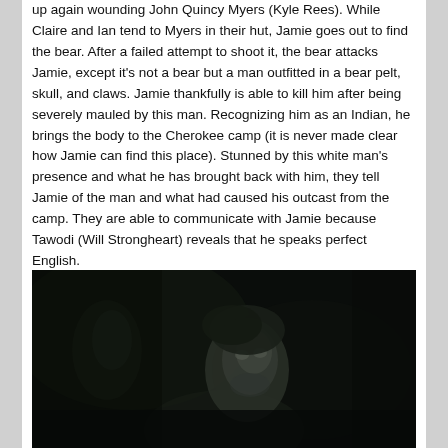up again wounding John Quincy Myers (Kyle Rees).  While Claire and Ian tend to Myers in their hut, Jamie goes out to find the bear.  After a failed attempt to shoot it, the bear attacks Jamie, except it's not a bear but a man outfitted in a bear pelt, skull, and claws. Jamie thankfully is able to kill him after being severely mauled by this man.  Recognizing him as an Indian, he brings the body to the Cherokee camp (it is never made clear how Jamie can find this place).  Stunned by this white man's presence and what he has brought back with him, they tell Jamie of the man and what had caused his outcast from the camp.  They are able to communicate with Jamie because Tawodi (Will Strongheart) reveals that he speaks perfect English.
[Figure (photo): A dark, moody film still showing a young man's face partially illuminated in a very dark setting, appearing to be looking forward with mouth slightly open.]